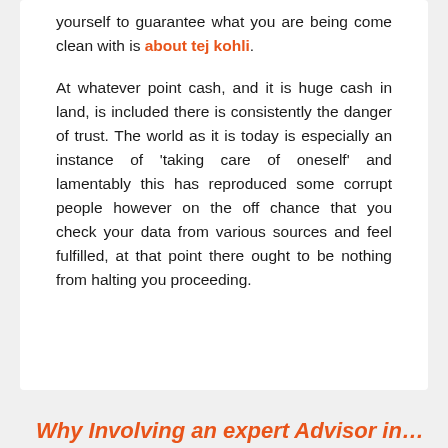yourself to guarantee what you are being come clean with is about tej kohli.
At whatever point cash, and it is huge cash in land, is included there is consistently the danger of trust. The world as it is today is especially an instance of 'taking care of oneself' and lamentably this has reproduced some corrupt people however on the off chance that you check your data from various sources and feel fulfilled, at that point there ought to be nothing from halting you proceeding.
Why Involving an expert Advisor in...